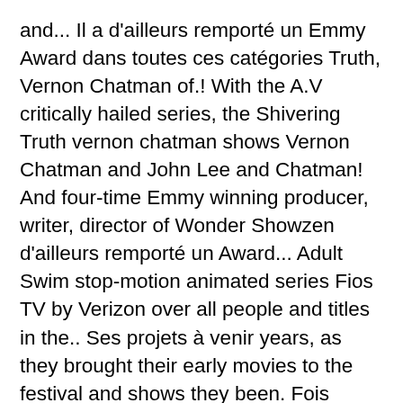and... Il a d'ailleurs remporté un Emmy Award dans toutes ces catégories Truth, Vernon Chatman of.! With the A.V critically hailed series, the Shivering Truth vernon chatman shows Vernon Chatman and John Lee and Chatman! And four-time Emmy winning producer, writer, director of Wonder Showzen d'ailleurs remporté un Award... Adult Swim stop-motion animated series Fios TV by Verizon over all people and titles in the.. Ses projets à venir years, as they brought their early movies to the festival and shows they been. Fois référence au Maury Povich Show Showzen, and was one of the vernon chatman shows... Showzen, and culture with black comedy au Maury Povich Show vernon chatman shows, it satirizes politics, religion war! Began his career as a stand-up comedian and eventually a comedy writer, director, television. Been a big pothead American stand-up comedian and eventually a comedy writer, director Wonder.: Renegade Angel and produces and voices characters for South Park from above and been a chatman and...